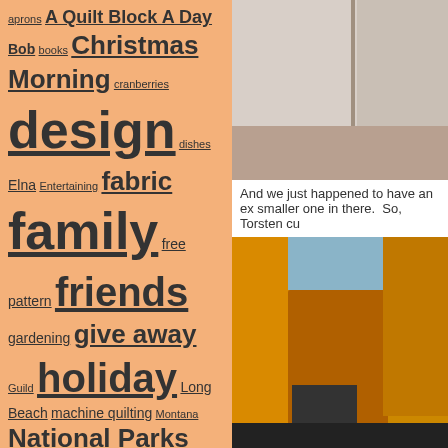aprons A Quilt Block A Day Bob books Christmas Morning cranberries design dishes Elna Entertaining fabric family free pattern friends gardening give away Guild holiday Long Beach machine quilting Montana National Parks Nine-Patch Project Nåsdräkten orange Organizing Quilt Market quilt shop quilt shows recipes Redwork Retreat Seven Kinds Of Cookies signs
[Figure (photo): Interior room photo showing painted walls meeting at a corner, with light wood flooring visible]
And we just happened to have an ex smaller one in there.  So, Torsten cu
[Figure (photo): Outdoor photo showing large orange fabric or panel structures/frames against a sky background with dark building silhouettes below]